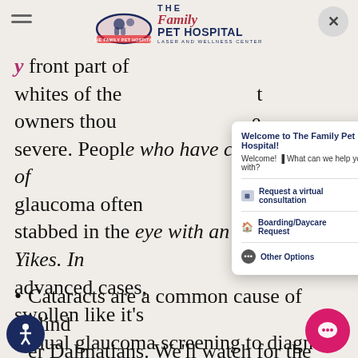The Family Pet Hospital - Laser and Wellness Center
front part of the whites of the owners thought severe. People who have certain types of glaucoma often stabbed in the eye with an ice pick. Yikes. In advanced cases, swollen like it's annual glaucoma screening to diagnose and start treatment as early as is a medical emergency. If don't wait to call us, go to an emergency clinic!
Welcome to The Family Pet Hospital! Welcome! What can we help you with? Request a virtual consultation > Boarding/Daycare Request > Other Options >
Cataracts are a common cause of blind Dalmatians. We'll watch for the lens of his eyes to become more opaque—meaning